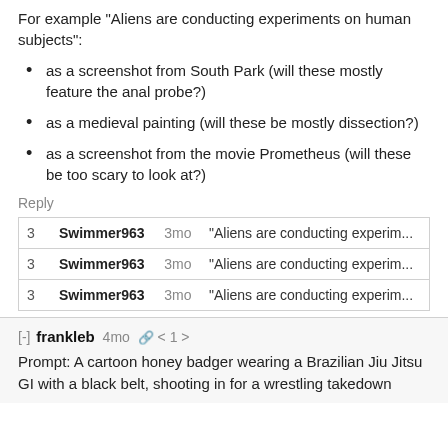For example "Aliens are conducting experiments on human subjects":
as a screenshot from South Park (will these mostly feature the anal probe?)
as a medieval painting (will these be mostly dissection?)
as a screenshot from the movie Prometheus (will these be too scary to look at?)
Reply
| num | username | time | excerpt |
| --- | --- | --- | --- |
| 3 | Swimmer963 | 3mo | "Aliens are conducting experim... |
| 3 | Swimmer963 | 3mo | "Aliens are conducting experim... |
| 3 | Swimmer963 | 3mo | "Aliens are conducting experim... |
[-] frankleb 4mo < 1 >
Prompt: A cartoon honey badger wearing a Brazilian Jiu Jitsu GI with a black belt, shooting in for a wrestling takedown